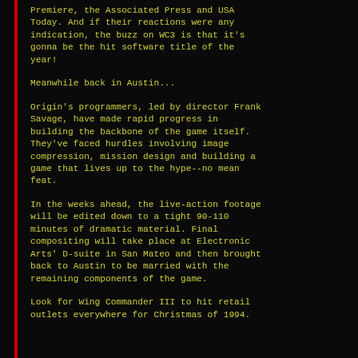Premiere, the Associated Press and USA Today. And if their reactions were any indication, the buzz on WC3 is that it's gonna be the hit software title of the year!
Meanwhile back in Austin...
Origin's programmers, led by director Frank Savage, have made rapid progress in building the backbone of the game itself. They've faced hurdles involving image compression, mission design and building a game that lives up to the hype--no mean feat.
In the weeks ahead, the live-action footage will be edited down to a tight 90-110 minutes of dramatic material. Final compositing will take place at Electronic Arts' D-suite in San Mateo and then brought back to Austin to be married with the remaining components of the game.
Look for Wing Commander III to hit retail outlets everywhere for Christmas of 1994.